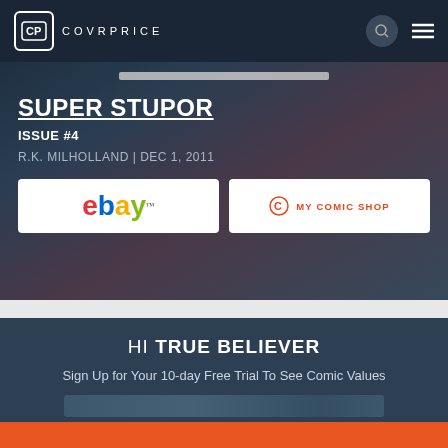COVRPRICE
SUPER STUPOR
ISSUE #4
R.K. MILHOLLAND | DEC 1, 2011
[Figure (logo): eBay logo in white button]
[Figure (logo): My Comic Shop logo in white button]
HI TRUE BELIEVER
Sign Up for Your 10-day Free Trial To See Comic Values